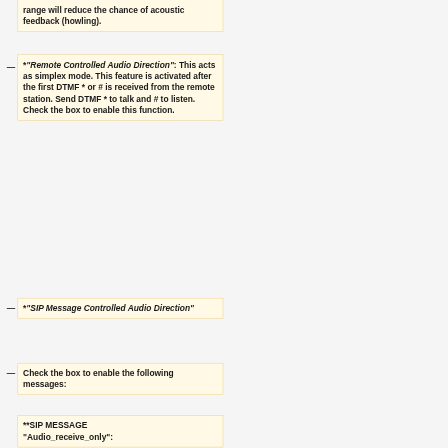range will reduce the chance of acoustic feedback (howling).
*"Remote Controlled Audio Direction": This acts as simplex mode. This feature is activated after the first DTMF * or # is received from the remote station. Send DTMF * to talk and # to listen. Check the box to enable this function.
*"SIP Message Controlled Audio Direction"
Check the box to enable the following messages:
**SIP MESSAGE "Audio_receive_only":